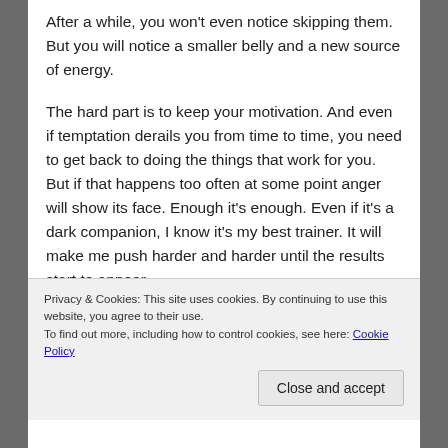After a while, you won't even notice skipping them. But you will notice a smaller belly and a new source of energy.
The hard part is to keep your motivation. And even if temptation derails you from time to time, you need to get back to doing the things that work for you. But if that happens too often at some point anger will show its face. Enough it's enough. Even if it's a dark companion, I know it's my best trainer. It will make me push harder and harder until the results start to appear.
What about you, what are your secrets to getting rid
Privacy & Cookies: This site uses cookies. By continuing to use this website, you agree to their use.
To find out more, including how to control cookies, see here: Cookie Policy